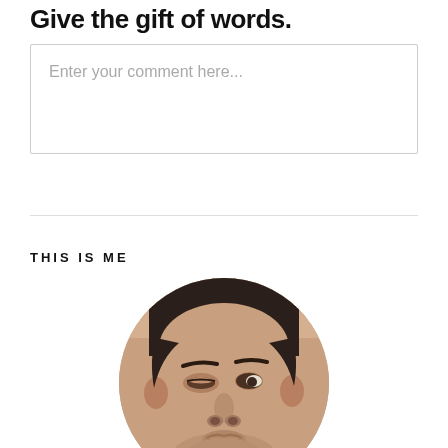Give the gift of words.
Enter your comment here...
THIS IS ME
[Figure (photo): Circular cropped portrait photo of a man with dark short hair, looking slightly to the side. The photo is cropped in a circle shape.]